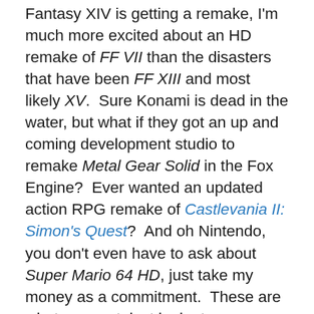Fantasy XIV is getting a remake, I'm much more excited about an HD remake of FF VII than the disasters that have been FF XIII and most likely XV. Sure Konami is dead in the water, but what if they got an up and coming development studio to remake Metal Gear Solid in the Fox Engine? Ever wanted an updated action RPG remake of Castlevania II: Simon's Quest? And oh Nintendo, you don't even have to ask about Super Mario 64 HD, just take my money as a commitment. These are what we want, just look at Kickstarters like Shovel Knight, Mighty No. 9, Yooka-Laylee, and Bloodstained; the clear response is that we desperately want a return to form with the games of old, whether they be new adventures with the old style or just plain remakes. I'm sorry to say that given the recent years of new IP and sequels, I'm about ready to see these companies focus on making what is old new again rather than trying to re-invent the wheel.